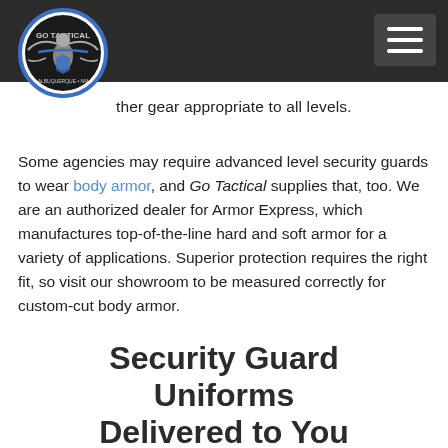[Figure (logo): Go Tactical circular logo with eagle emblem]
ther gear appropriate to all levels.
Some agencies may require advanced level security guards to wear body armor, and Go Tactical supplies that, too. We are an authorized dealer for Armor Express, which manufactures top-of-the-line hard and soft armor for a variety of applications. Superior protection requires the right fit, so visit our showroom to be measured correctly for custom-cut body armor.
Security Guard Uniforms Delivered to You
If your agency operates outside the greater Albuquerque area, contact us for mobile concierge service. We can provide on site